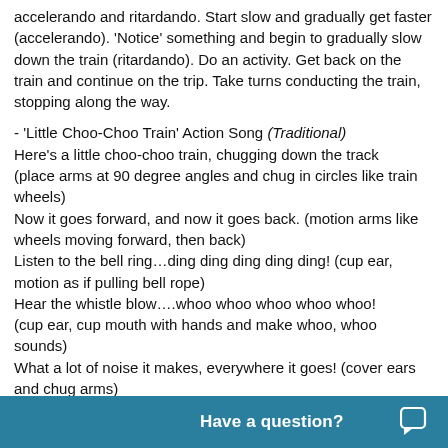accelerando and ritardando. Start slow and gradually get faster (accelerando). 'Notice' something and begin to gradually slow down the train (ritardando). Do an activity. Get back on the train and continue on the trip. Take turns conducting the train, stopping along the way.
- 'Little Choo-Choo Train' Action Song (Traditional)
Here's a little choo-choo train, chugging down the track (place arms at 90 degree angles and chug in circles like train wheels)
Now it goes forward, and now it goes back. (motion arms like wheels moving forward, then back)
Listen to the bell ring…ding ding ding ding ding! (cup ear, motion as if pulling bell rope)
Hear the whistle blow….whoo whoo whoo whoo whoo! (cup ear, cup mouth with hands and make whoo, whoo sounds)
What a lot of noise it makes, everywhere it goes! (cover ears and chug arms)
- Traditional Train Songs:
'I've Been Working on the Railroad'
'Down by the Station'
'Little Red Caboose'